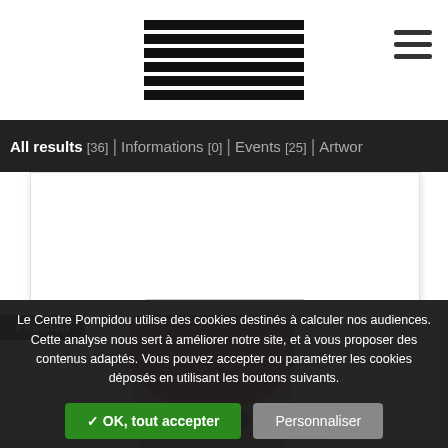[Figure (logo): Centre Pompidou logo with horizontal lines forming a stylized zigzag pattern]
All results [36] | Informations [0] | Events [25] | Artwo
[Figure (photo): Portrait photo of a person with red/auburn hair, partially cropped, with a Finished badge overlay]
Le Centre Pompidou utilise des cookies destinés à calculer nos audiences. Cette analyse nous sert à améliorer notre site, et à vous proposer des contenus adaptés. Vous pouvez accepter ou paramétrer les cookies déposés en utilisant les boutons suivants.
✓ OK, tout accepter
Personnaliser